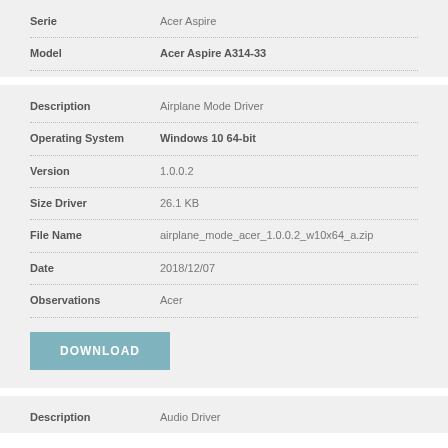| Field | Value |
| --- | --- |
| Serie | Acer Aspire |
| Model | Acer Aspire A314-33 |
| Field | Value |
| --- | --- |
| Description | Airplane Mode Driver |
| Operating System | Windows 10 64-bit |
| Version | 1.0.0.2 |
| Size Driver | 26.1 KB |
| File Name | airplane_mode_acer_1.0.0.2_w10x64_a.zip |
| Date | 2018/12/07 |
| Observations | Acer |
DOWNLOAD
| Field | Value |
| --- | --- |
| Description | Audio Driver |